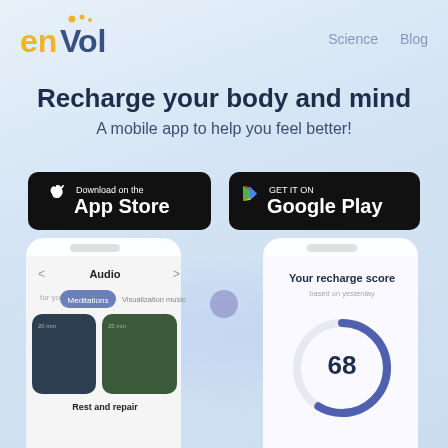[Figure (logo): enVol logo with yellow 'en' and blue 'Vol' text with decorative dots above]
Science  Blog
Recharge your body and mind
A mobile app to help you feel better!
[Figure (other): Download on the App Store button (black rounded rectangle with Apple logo)]
[Figure (other): GET IT ON Google Play button (black rounded rectangle with Google Play triangle logo)]
[Figure (screenshot): Mobile app screenshot showing Audio section with Meditations and Visualization music tabs, and Rest and repair card]
[Figure (screenshot): Mobile app screenshot showing Your recharge score with score of 68 in a circular gauge]